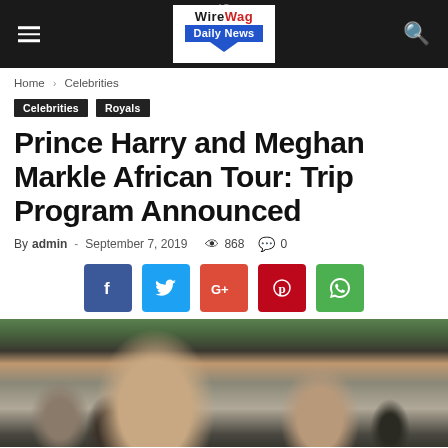WireWag Daily News
Home › Celebrities
Celebrities  Royals
Prince Harry and Meghan Markle African Tour: Trip Program Announced
By admin - September 7, 2019  👁 868  💬 0
[Figure (other): Social sharing buttons: Facebook, Twitter, Google+, Pinterest, WhatsApp]
[Figure (photo): Photo of Prince Harry and Meghan Markle walking among a crowd outdoors]